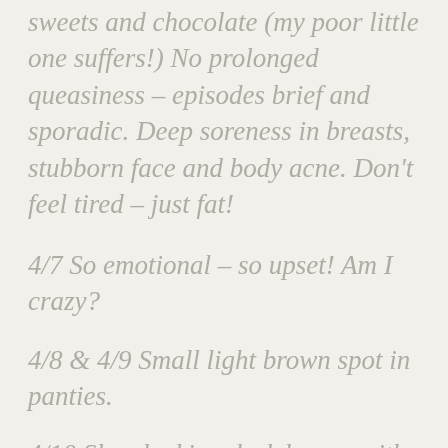sweets and chocolate (my poor little one suffers!) No prolonged queasiness – episodes brief and sporadic. Deep soreness in breasts, stubborn face and body acne. Don't feel tired – just fat!
4/7 So emotional – so upset! Am I crazy?
4/8 & 4/9 Small light brown spot in panties.
4/10 Slow leaking dark brown with menstrual cramps (am in Arizona with Marc as he is interviewing with a new job